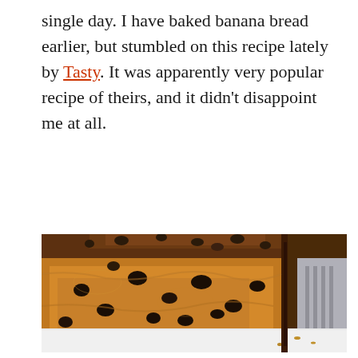single day. I have baked banana bread earlier, but stumbled on this recipe lately by Tasty. It was apparently very popular recipe of theirs, and it didn't disappoint me at all.
[Figure (photo): Close-up photograph of sliced chocolate chip banana bread on a white plate with a fork visible on the right side. The bread has a golden-brown interior studded with melted chocolate chips and a darker top crust.]